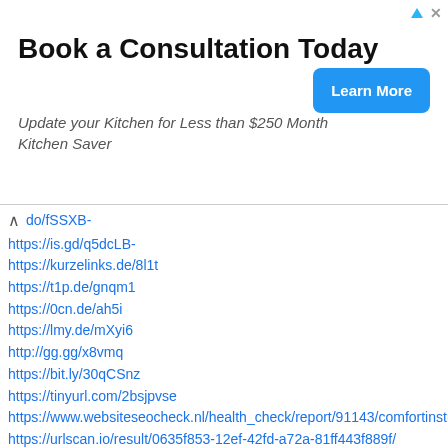[Figure (screenshot): Advertisement banner: 'Book a Consultation Today' with subtitle 'Update your Kitchen for Less than $250 Month Kitchen Saver' and a blue 'Learn More' button. Ad icons (triangle and X) in top right.]
do/fSSXB-
https://is.gd/q5dcLB-
https://kurzelinks.de/8l1t
https://t1p.de/gnqm1
https://0cn.de/ah5i
https://lmy.de/mXyi6
http://gg.gg/x8vmq
https://bit.ly/30qCSnz
https://tinyurl.com/2bsjpvse
https://www.websiteseocheck.nl/health_check/report/91143/comfortinstitute.orgme
https://urlscan.io/result/0635f853-12ef-42fd-a72a-81ff443f889f/
https://search.aol.com/aol/search;_ylt=AwrE1xURS7ZhflwAOldpCWVH?q=site%3A&nojs=1
http://bit.do/fSSXG-
https://is.gd/wRnf0l-
https://kurzelinks.de/748c
https://t1p.de/w6ud